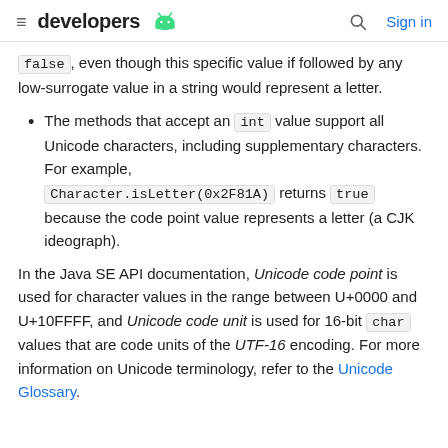developers | Sign in
false, even though this specific value if followed by any low-surrogate value in a string would represent a letter.
The methods that accept an int value support all Unicode characters, including supplementary characters. For example, Character.isLetter(0x2F81A) returns true because the code point value represents a letter (a CJK ideograph).
In the Java SE API documentation, Unicode code point is used for character values in the range between U+0000 and U+10FFFF, and Unicode code unit is used for 16-bit char values that are code units of the UTF-16 encoding. For more information on Unicode terminology, refer to the Unicode Glossary.